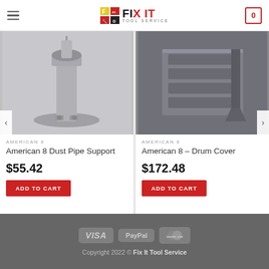Fix It Tool Service — navigation header with logo and cart
[Figure (photo): Photo of American 8 Dust Pipe Support — grey metal pipe support fitting on white/grey background]
AMERICAN 8
American 8 Dust Pipe Support
$55.42
ADD TO CART
[Figure (photo): Photo of American 8 Drum Cover — grey ribbed metal drum cover piece on dark background]
AMERICAN 8
American 8 – Drum Cover
$172.48
ADD TO CART
VISA  PayPal  MasterCard   Copyright 2022 © Fix It Tool Service